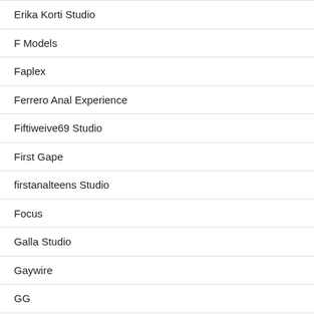Erika Korti Studio
F Models
Faplex
Ferrero Anal Experience
Fiftiweive69 Studio
First Gape
firstanalteens Studio
Focus
Galla Studio
Gaywire
GG
Giorgio Grandi
Giorgio's Lab